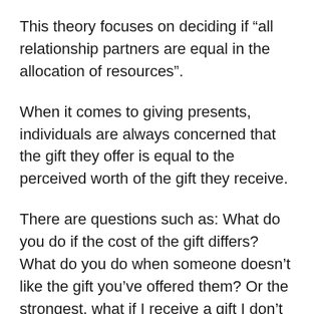This theory focuses on deciding if “all relationship partners are equal in the allocation of resources”.
When it comes to giving presents, individuals are always concerned that the gift they offer is equal to the perceived worth of the gift they receive.
There are questions such as: What do you do if the cost of the gift differs? What do you do when someone doesn’t like the gift you’ve offered them? Or the strongest, what if I receive a gift I don’t like?